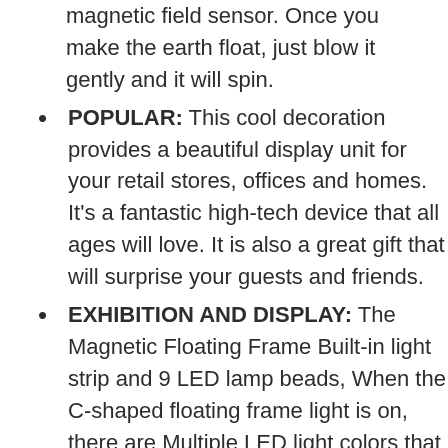magnetic field sensor. Once you make the earth float, just blow it gently and it will spin.
POPULAR: This cool decoration provides a beautiful display unit for your retail stores, offices and homes. It's a fantastic high-tech device that all ages will love. It is also a great gift that will surprise your guests and friends.
EXHIBITION AND DISPLAY: The Magnetic Floating Frame Built-in light strip and 9 LED lamp beads, When the C-shaped floating frame light is on, there are Multiple LED light colors that will display. It's very cool and beautiful when working in the dark, the best gift and decoration.
DESIGN: C shape (H * W): 6.81 inches x 7.09 inches, There are three colors of the optional globe, blue, black, gold, with colorful LED